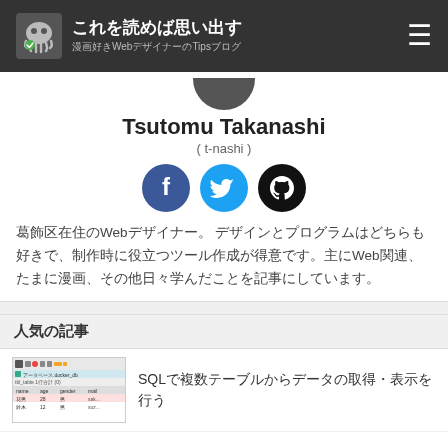これを読めば思い出す 漫画好きWebデザイナーのTipsブログ
Tsutomu Takanashi
( t-nashi )
[Figure (illustration): Three social media icons: Facebook (blue circle with f), Twitter (light blue circle with bird), GitHub (black circle with cat/octocat logo)]
葛飾区在住のWebデザイナー。 デザインとプログラムはどちらも好きで、制作時に役立つツール作成が得意です。主にWeb関連、たまに漫画、その他日々学んだことを記事にしています。
人気の記事
[Figure (screenshot): Screenshot of a database management tool showing SQL query results with columns: name, age, gender, mail and sample data rows]
SQLで複数テーブルからデータの取得・表示を行う